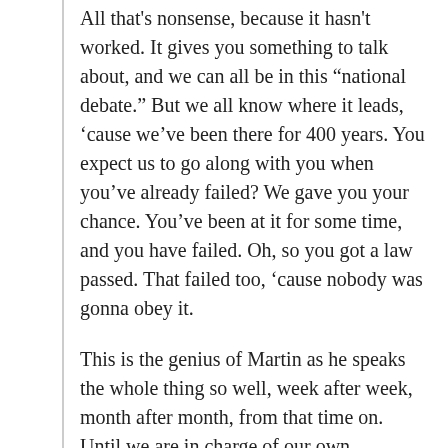All that's nonsense, because it hasn't worked. It gives you something to talk about, and we can all be in this “national debate.” But we all know where it leads, ‘cause we’ve been there for 400 years. You expect us to go along with you when you've already failed? We gave you your chance. You’ve been at it for some time, and you have failed. Oh, so you got a law passed. That failed too, ‘cause nobody was gonna obey it.
This is the genius of Martin as he speaks the whole thing so well, week after week, month after month, from that time on. Until we are in charge of our own freedom, there is not gonna be any freedom for us. As long as we allow someone else to speak for us, and they know each other very well, there’s not gonna be a breaking of the old order. We’re still